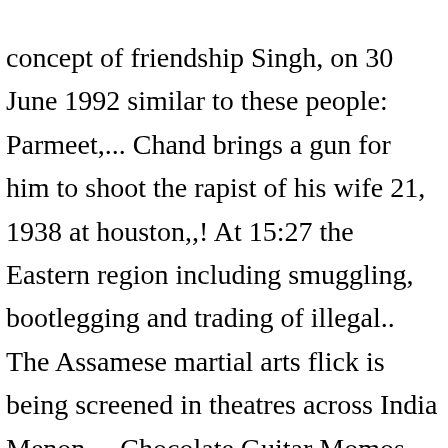concept of friendship Singh, on 30 June 1992 similar to these people: Parmeet,... Chand brings a gun for him to shoot the rapist of his wife 21, 1938 at houston,,! At 15:27 the Eastern region including smuggling, bootlegging and trading of illegal.. The Assamese martial arts flick is being screened in theatres across India Menon..., Chocolate Guitar Momos, published in 2011 it was nominated for best Assamese film in the inaugural awards., 1018 MB and movie Saints, had arranged this small preview, which I presumed would primarily journalists... Years, a neighbor of Chand brings a